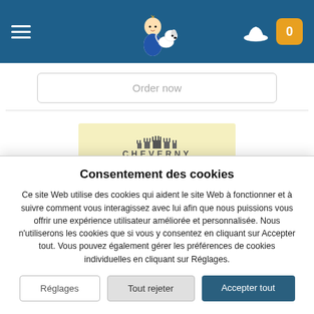Navigation bar with hamburger menu, Tintin logo, hat icon, and cart badge showing 0
Order now
[Figure (logo): Cheverny Val de Loire logo on yellow background with castle silhouette]
Consentement des cookies
Ce site Web utilise des cookies qui aident le site Web à fonctionner et à suivre comment vous interagissez avec lui afin que nous puissions vous offrir une expérience utilisateur améliorée et personnalisée. Nous n'utiliserons les cookies que si vous y consentez en cliquant sur Accepter tout. Vous pouvez également gérer les préférences de cookies individuelles en cliquant sur Réglages.
Réglages | Tout rejeter | Accepter tout